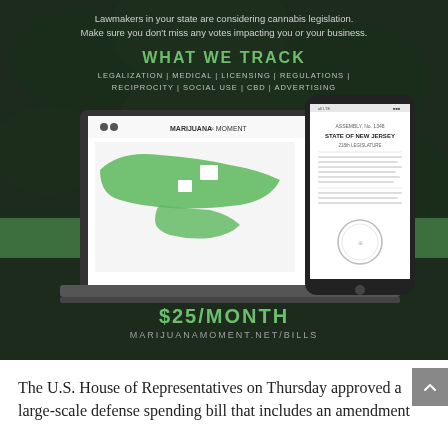[Figure (infographic): Advertisement for MarijuanaMoment.net/bills showing a laptop with a US state map and a smartphone with a New Jersey Assembly bill. Dark background with cannabis leaf texture, green horizontal stripe, showing tracking of cannabis legislation for $25/month.]
The U.S. House of Representatives on Thursday approved a large-scale defense spending bill that includes an amendment